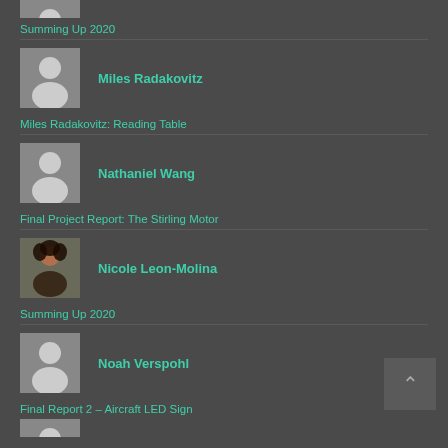[Figure (photo): Partial avatar photo at top of page (cropped)]
Summing Up 2020
[Figure (photo): Placeholder person silhouette avatar for Miles Radakovitz]
Miles Radakovitz
Miles Radakovitz: Reading Table
[Figure (photo): Placeholder person silhouette avatar for Nathaniel Wang]
Nathaniel Wang
Final Project Report: The Stirling Motor
[Figure (photo): Photo avatar for Nicole Leon-Molina]
Nicole Leon-Molina
Summing Up 2020
[Figure (photo): Placeholder person silhouette avatar for Noah Verspohl]
Noah Verspohl
Final Report 2 – Aircraft LED Sign
[Figure (photo): Partial avatar at bottom of page (cropped)]